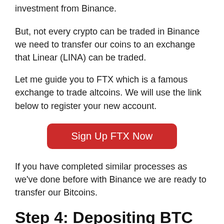investment from Binance.
But, not every crypto can be traded in Binance we need to transfer our coins to an exchange that Linear (LINA) can be traded.
Let me guide you to FTX which is a famous exchange to trade altcoins. We will use the link below to register your new account.
Sign Up FTX Now
If you have completed similar processes as we've done before with Binance we are ready to transfer our Bitcoins.
Step 4: Depositing BTC to